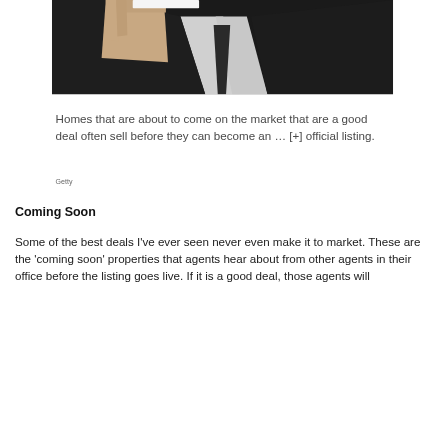[Figure (photo): A person in a dark suit and white shirt holding a dark card or object, photographed against a black background. Only the torso and hand are visible.]
Homes that are about to come on the market that are a good deal often sell before they can become an … [+] official listing.
Getty
Coming Soon
Some of the best deals I've ever seen never even make it to market. These are the 'coming soon' properties that agents hear about from other agents in their office before the listing goes live. If it is a good deal, those agents will